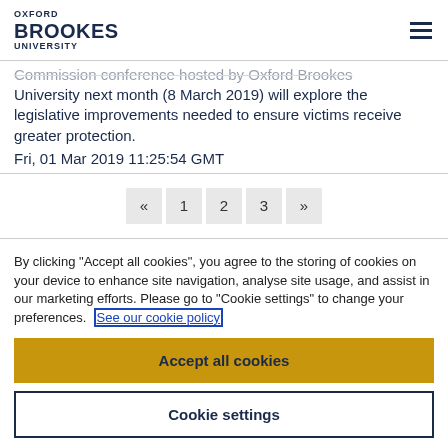OXFORD BROOKES UNIVERSITY
Commission conference hosted by Oxford Brookes University next month (8 March 2019) will explore the legislative improvements needed to ensure victims receive greater protection.
Fri, 01 Mar 2019 11:25:54 GMT
« 1 2 3 »
By clicking "Accept all cookies", you agree to the storing of cookies on your device to enhance site navigation, analyse site usage, and assist in our marketing efforts. Please go to "Cookie settings" to change your preferences. See our cookie policy
Accept all cookies
Cookie settings